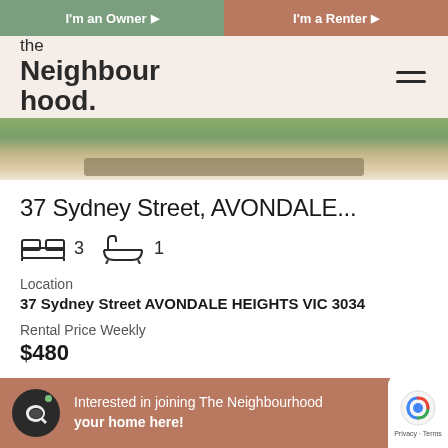I'm an Owner ▶  |  I'm a Renter ▶
[Figure (logo): The Neighbourhood logo with hamburger menu icon]
[Figure (photo): Property exterior photo showing grass and pathway/rail]
37 Sydney Street, AVONDALE...
3 bedrooms, 1 bathroom
Location
37 Sydney Street AVONDALE HEIGHTS VIC 3034
Rental Price Weekly
$480
Interested in joining The Neighbourhood? List your home here!